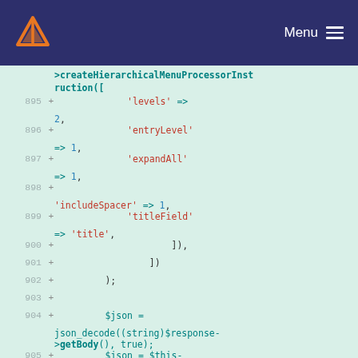Menu
[Figure (screenshot): Code diff view showing PHP code lines 895-905 with green background, line numbers, plus signs, and syntax-highlighted code]
>createHierarchicalMenuProcessorInstruction([
895 + 'levels' => 2,
896 + 'entryLevel' => 1,
897 + 'expandAll' => 1,
898 + 'includeSpacer' => 1,
899 + 'titleField' => 'title',
900 + ]),
901 + ])
902 + );
903 +
904 + $json = json_decode((string)$response->getBody(), true);
905 + $json = $this-